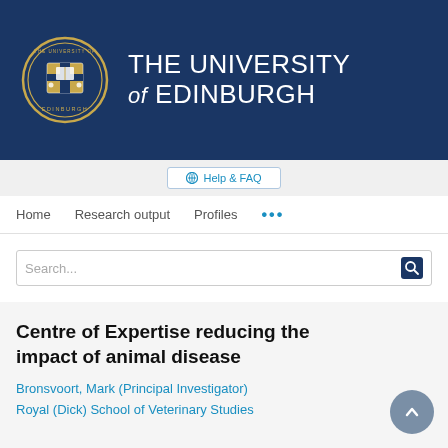[Figure (logo): University of Edinburgh logo with crest and text on dark navy blue banner]
Help & FAQ
Home   Research output   Profiles   ...
Search...
Centre of Expertise reducing the impact of animal disease
Bronsvoort, Mark (Principal Investigator)
Royal (Dick) School of Veterinary Studies